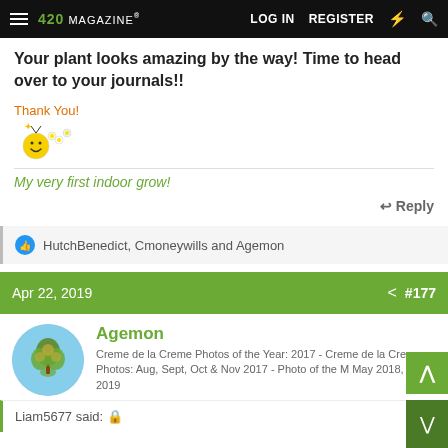420 Magazine | LOG IN | REGISTER
Your plant looks amazing by the way! Time to head over to your journals!!
Thank You!
[Figure (illustration): Smiley face and flowers emoji]
My very first indoor grow!
Reply
HutchBenedict, Cmoneywills and Agemon
Apr 22, 2019  #177
Agemon
Creme de la Creme Photos of the Year: 2017 - Creme de la Creme Photos: Aug, Sept, Oct & Nov 2017 - Photo of the M May 2018, Mar 2019
Liam5677 said: